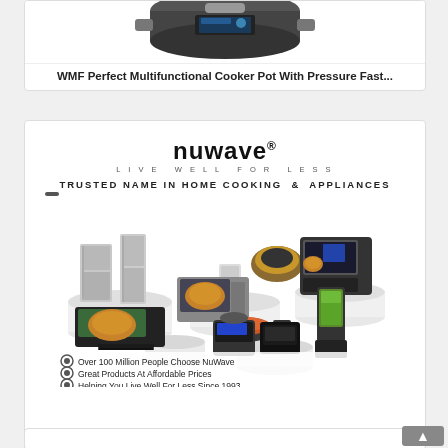[Figure (photo): Partial view of WMF Perfect Multifunctional Cooker Pot product image (top portion cut off)]
WMF Perfect Multifunctional Cooker Pot With Pressure Fast...
[Figure (photo): NuWave branded product advertisement image showing multiple kitchen appliances including air fryers, pressure cookers, blenders, refrigerators, and ovens arranged on white podiums. Text reads: TRUSTED NAME IN HOME COOKING & APPLIANCES. Over 100 Million People Choose NuWave. Great Products At Affordable Prices. Helping You Live Well For Less Since 1993.]
Nu Wave 33101 Nutri-Pot Digital Pressure Cooker, 6 Qt, Black
[Figure (photo): Partial view of a third product card at the bottom of the page with a blue logo partially visible]